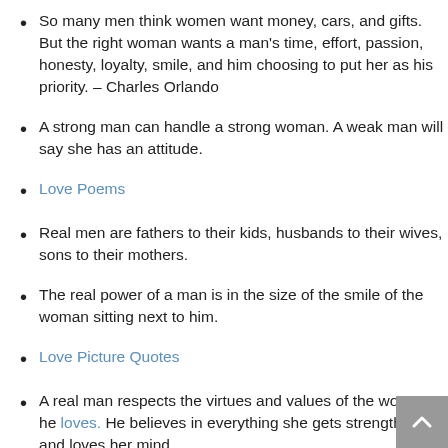So many men think women want money, cars, and gifts. But the right woman wants a man's time, effort, passion, honesty, loyalty, smile, and him choosing to put her as his priority. – Charles Orlando
A strong man can handle a strong woman. A weak man will say she has an attitude.
Love Poems
Real men are fathers to their kids, husbands to their wives, sons to their mothers.
The real power of a man is in the size of the smile of the woman sitting next to him.
Love Picture Quotes
A real man respects the virtues and values of the woman he loves. He believes in everything she gets strength from and loves her mind.